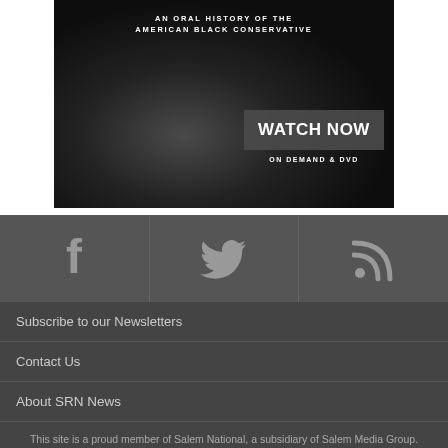[Figure (photo): Dark advertisement image showing a person with sunglasses and a cap, with text 'AN ORAL HISTORY OF THE AMERICAN BLACK CONSERVATIVE', a 'WATCH NOW' button, and 'ON DEMAND & DVD' text below.]
[Figure (infographic): Social media icon bar with Facebook (f), Twitter (bird), and RSS feed icons on a dark gray background, separated by vertical dividers.]
Subscribe to our Newsletters
Contact Us
About SRN News
This site is a proud member of Salem National, a subsidiary of Salem Media Group.
Other Salem National sites include: HughHewitt.com, MikeOnline.com